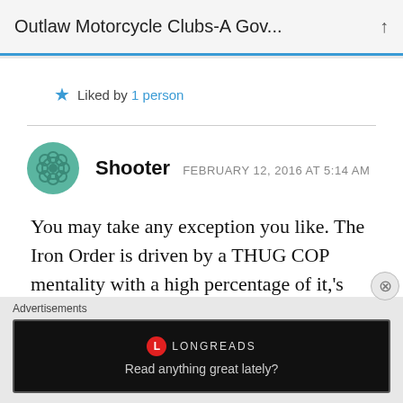Outlaw Motorcycle Clubs-A Gov...
★ Liked by 1 person
Shooter   FEBRUARY 12, 2016 AT 5:14 AM
You may take any exception you like. The Iron Order is driven by a THUG COP mentality with a high percentage of it,'s membership being just that, THUG COPS. These gutless wonders try
[Figure (screenshot): Longreads advertisement banner — black background with Longreads logo and tagline 'Read anything great lately?']